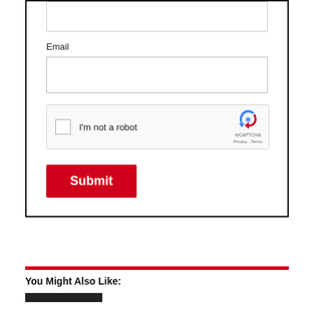[Figure (screenshot): A web form partial view showing an empty text input box at the top (partially cropped), an Email label, an email text input field, a reCAPTCHA widget with 'I'm not a robot' checkbox, and a red Submit button. Below the form box is a red horizontal divider and a 'You Might Also Like:' section header with a small dark image placeholder.]
Email
I'm not a robot
reCAPTCHA
Privacy - Terms
Submit
You Might Also Like: